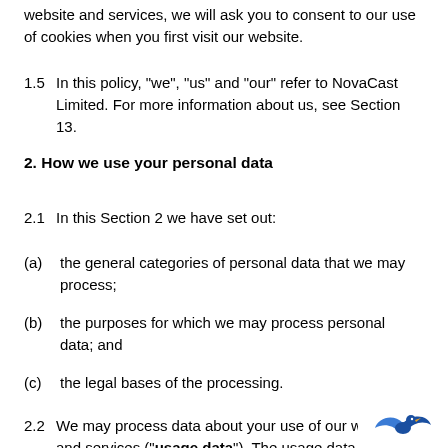website and services, we will ask you to consent to our use of cookies when you first visit our website.
1.5    In this policy, “we”, “us” and “our” refer to NovaCast Limited. For more information about us, see Section 13.
2. How we use your personal data
2.1    In this Section 2 we have set out:
(a)    the general categories of personal data that we may process;
(b)    the purposes for which we may process personal data; and
(c)    the legal bases of the processing.
2.2    We may process data about your use of our we and services (“usage data”). The usage data may include